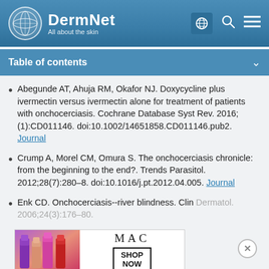[Figure (logo): DermNet logo with globe icon and tagline 'All about the skin']
Table of contents
Abegunde AT, Ahuja RM, Okafor NJ. Doxycycline plus ivermectin versus ivermectin alone for treatment of patients with onchocerciasis. Cochrane Database Syst Rev. 2016;(1):CD011146. doi:10.1002/14651858.CD011146.pub2. Journal
Crump A, Morel CM, Omura S. The onchocerciasis chronicle: from the beginning to the end?. Trends Parasitol. 2012;28(7):280–8. doi:10.1016/j.pt.2012.04.005. Journal
Enk CD. Onchocerciasis--river blindness. Clin Dermatol. 2006;24(3):176–80.
[Figure (screenshot): MAC cosmetics advertisement showing lipsticks with SHOP NOW button]
Lakwo T, Irio K. Neurological manifestations in Onchocerca volvulus infection: a review. Brain...